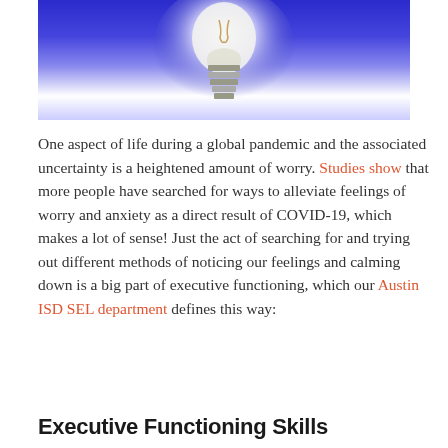[Figure (photo): Photo of a glowing light bulb (just the base/socket portion visible) against a bright blue and white glowing background, suggesting an idea or insight concept.]
One aspect of life during a global pandemic and the associated uncertainty is a heightened amount of worry. Studies show that more people have searched for ways to alleviate feelings of worry and anxiety as a direct result of COVID-19, which makes a lot of sense! Just the act of searching for and trying out different methods of noticing our feelings and calming down is a big part of executive functioning, which our Austin ISD SEL department defines this way:
Executive Functioning Skills